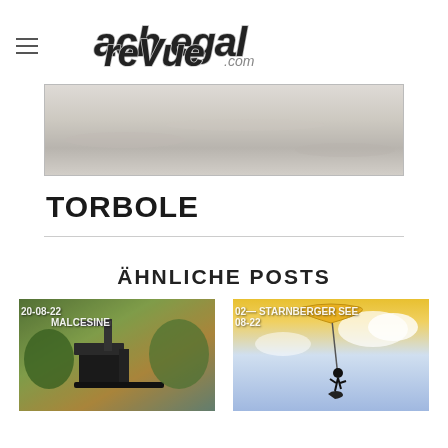ach egal reVue.com
[Figure (photo): Light gray/beige sandy or snowy beach surface, wide horizontal panorama banner]
TORBOLE
ÄHNLICHE POSTS
[Figure (photo): Post card: 20-08-22, MALCESINE – crane or lift vehicle among trees with mountain backdrop]
[Figure (photo): Post card: 02- 08-22, STARNBERGER SEE – kitesurfer silhouette airborne against sky with yellow kite]